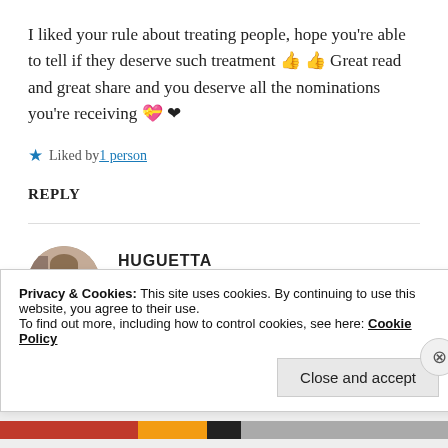I liked your rule about treating people, hope you're able to tell if they deserve such treatment 👍👍 Great read and great share and you deserve all the nominations you're receiving 💝❤
Liked by 1 person
REPLY
HUGUETTA
16 Apr 2019 at 4:14 pm
Privacy & Cookies: This site uses cookies. By continuing to use this website, you agree to their use.
To find out more, including how to control cookies, see here: Cookie Policy
Close and accept